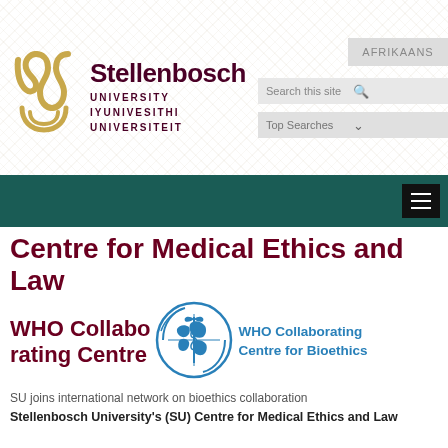Faculties | My.Sun | A-Z | Dates | Careers @ SU | Contact Us
[Figure (logo): Stellenbosch University logo - golden/brown stylized S-shaped emblem]
Stellenbosch UNIVERSITY IYUNIVESITHI UNIVERSITEIT
AFRIKAANS
Search this site
Top Searches
Centre for Medical Ethics and Law
WHO Collaborating Centre
[Figure (logo): WHO (World Health Organization) circular blue emblem with snake and staff]
WHO Collaborating Centre for Bioethics
SU joins international network on bioethics collaboration
Stellenbosch University's (SU) Centre for Medical Ethics and Law